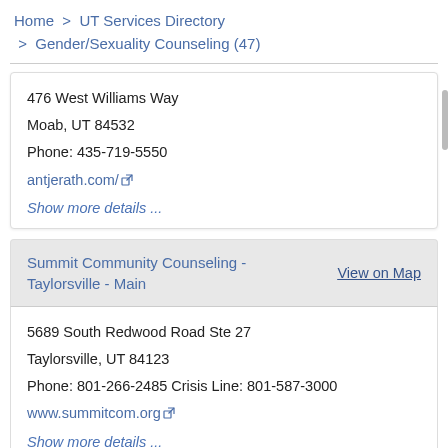Home > UT Services Directory > Gender/Sexuality Counseling (47)
476 West Williams Way
Moab, UT 84532
Phone: 435-719-5550
antjerath.com/
Show more details ...
Summit Community Counseling - Taylorsville - Main
View on Map
5689 South Redwood Road Ste 27
Taylorsville, UT 84123
Phone: 801-266-2485 Crisis Line: 801-587-3000
www.summitcom.org
Show more details ...